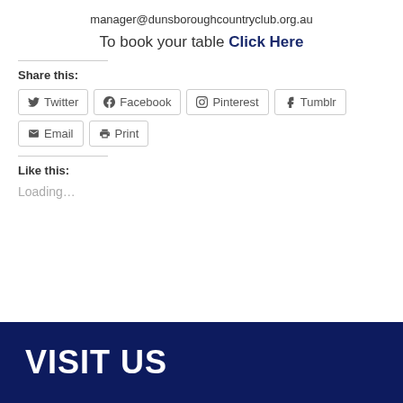manager@dunsboroughcountryclub.org.au
To book your table Click Here
Share this:
Twitter
Facebook
Pinterest
Tumblr
Email
Print
Like this:
Loading...
VISIT US